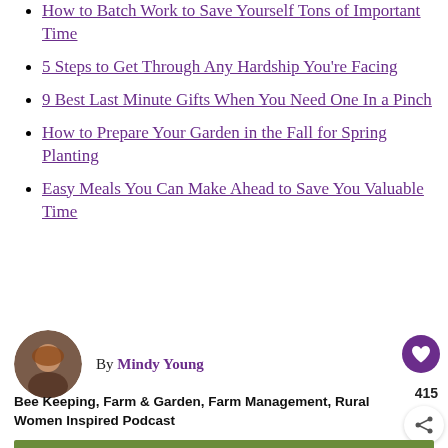How to Batch Work to Save Yourself Tons of Important Time
5 Steps to Get Through Any Hardship You're Facing
9 Best Last Minute Gifts When You Need One In a Pinch
How to Prepare Your Garden in the Fall for Spring Planting
Easy Meals You Can Make Ahead to Save You Valuable Time
By Mindy Young
Bee Keeping, Farm & Garden, Farm Management, Rural Women Inspired Podcast
415